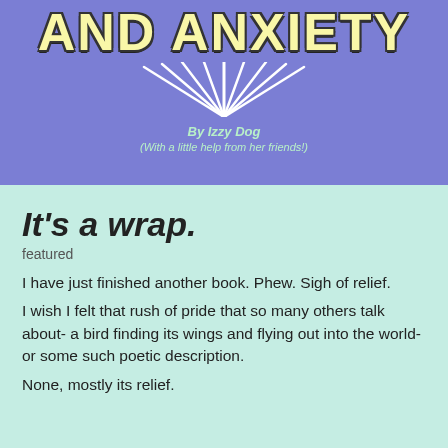[Figure (illustration): Book cover banner with purple background, large yellow bubble-letter text 'AND ANXIETY', decorative sunburst lines in white, author credit 'By Izzy Dog' and '(With a little help from her friends!)']
It's a wrap.
featured
I have just finished another book. Phew. Sigh of relief.
I wish I felt that rush of pride that so many others talk about- a bird finding its wings and flying out into the world- or some such poetic description.
None, mostly its relief.